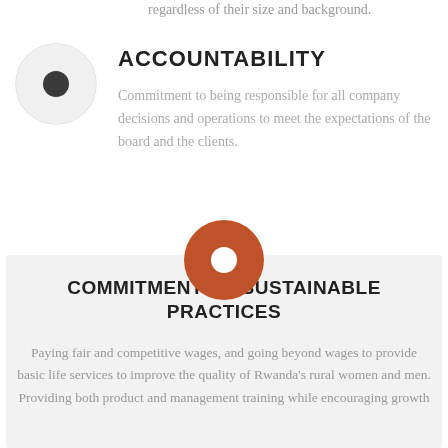regardless of their size and background.
[Figure (illustration): Gray circle with dark gray filled circle in center, representing an icon for Accountability section]
ACCOUNTABILITY
Commitment to being responsible for all company decisions and operations to meet the expectations of the board and the clients.
[Figure (illustration): Orange/terracotta filled circle with white circle in center (donut style), representing an icon for Commitment to Sustainable Practices section]
COMMITMENT TO SUSTAINABLE PRACTICES
Paying fair and competitive wages, and going beyond wages to provide basic life services to improve the quality of Rwanda's rural women and men. Providing both product and management training while encouraging growth